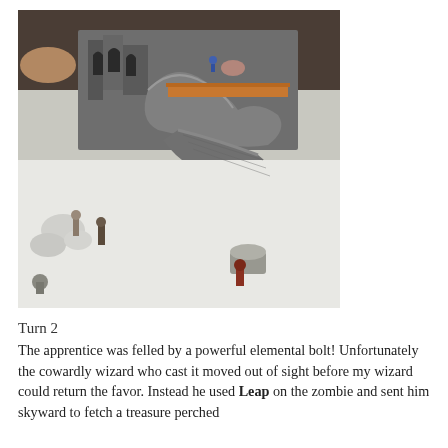[Figure (photo): Overhead view of a tabletop miniature wargame battlefield featuring gray stone castle ruins, rocky terrain, white playing surface, and several painted miniature figures including zombies and warriors. A hand is visible in the upper portion of the image.]
Turn 2
The apprentice was felled by a powerful elemental bolt! Unfortunately the cowardly wizard who cast it moved out of sight before my wizard could return the favor. Instead he used Leap on the zombie and sent him skyward to fetch a treasure perched